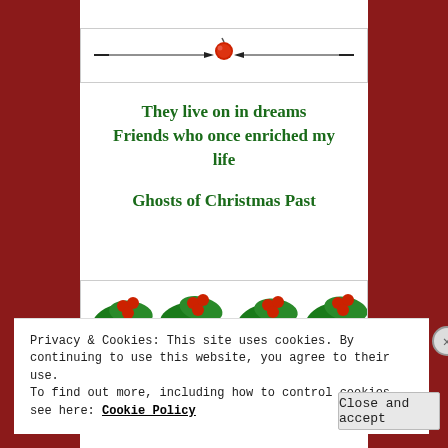[Figure (illustration): Decorative horizontal divider with a red berry/apple in the center and thin black lines extending to each side, set within a white bordered rectangle]
They live on in dreams
Friends who once enriched my life
Ghosts of Christmas Past
[Figure (illustration): A row of holly leaves and red berries forming a decorative border strip]
Privacy & Cookies: This site uses cookies. By continuing to use this website, you agree to their use.
To find out more, including how to control cookies, see here: Cookie Policy
Close and accept